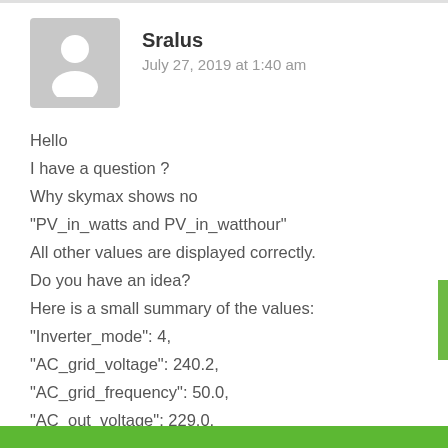[Figure (illustration): User avatar placeholder silhouette icon on grey background]
Sralus
July 27, 2019 at 1:40 am
Hello
I have a question ?
Why skymax shows no
"PV_in_watts and PV_in_watthour"
All other values are displayed correctly.
Do you have an idea?
Here is a small summary of the values:
"Inverter_mode": 4,
"AC_grid_voltage": 240.2,
"AC_grid_frequency": 50.0,
"AC_out_voltage": 229.0,
"AC_out_frequency": 49.9,
"PV_in_voltage": 167.0,
"PV_in_current": 18.0